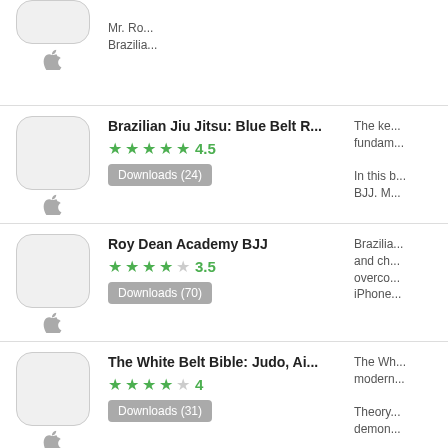Brazilian Jiu Jitsu: Blue Belt R... | Rating: 4.5 | Downloads (24) | The ke... fundam... In this b... BJJ. M...
Roy Dean Academy BJJ | Rating: 3.5 | Downloads (70) | Brazilia... and ch... overco... iPhone...
The White Belt Bible: Judo, Ai... | Rating: 4 | Downloads (31) | The Wh... modern... Theory... demon...
No Gi Essentials | Submis...